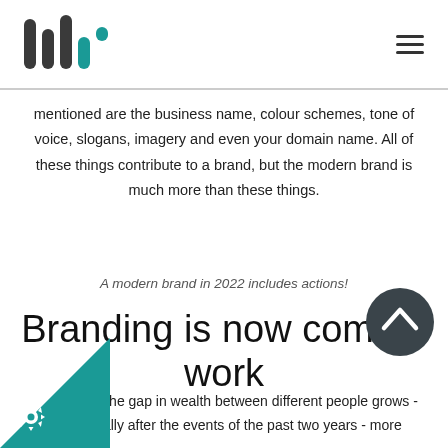[Figure (logo): Bar chart style logo icon with teal/dark bars of varying heights]
[Figure (other): Hamburger menu icon (three horizontal lines)]
mentioned are the business name, colour schemes, tone of voice, slogans, imagery and even your domain name. All of these things contribute to a brand, but the modern brand is much more than these things.
A modern brand in 2022 includes actions!
Branding is now commu work
As the gap in wealth between different people grows - ecially after the events of the past two years - more
[Figure (other): Dark teal triangle decoration at bottom-left corner]
[Figure (other): Gear/settings icon (white) on teal background at bottom-left]
[Figure (other): Dark circle with upward chevron arrow at bottom-right]